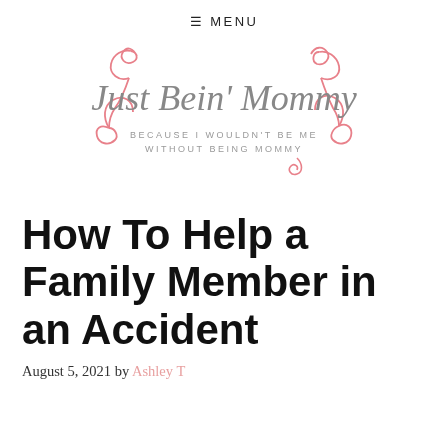≡ MENU
[Figure (logo): Just Bein' Mommy blog logo with script lettering and pink decorative swirls. Tagline: BECAUSE I WOULDN'T BE ME WITHOUT BEING MOMMY]
How To Help a Family Member in an Accident
August 5, 2021 by Ashley T